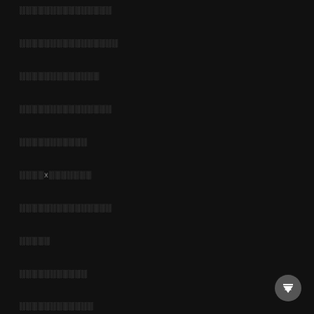░░░░░░░░░░░░░░░
░░░░░░░░░░░░░░░░
░░░░░░░░░░░░░
░░░░░░░░░░░░░░░
░░░░░░░░░░░
░░░░x░░░░░░░
░░░░░░░░░░░░░░░
░░░░░
░░░░░░░░░░░
░░░░░░░░░░░░